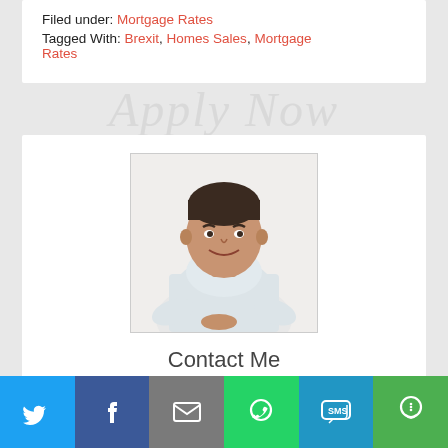Filed under: Mortgage Rates
Tagged With: Brexit, Homes Sales, Mortgage Rates
[Figure (photo): Professional headshot of a man in a white shirt, smiling, against a white background.]
Contact Me
Vice President /Mortgage Lender
[Figure (infographic): Social sharing bar with icons for Twitter, Facebook, Email, WhatsApp, SMS, and More sharing options.]